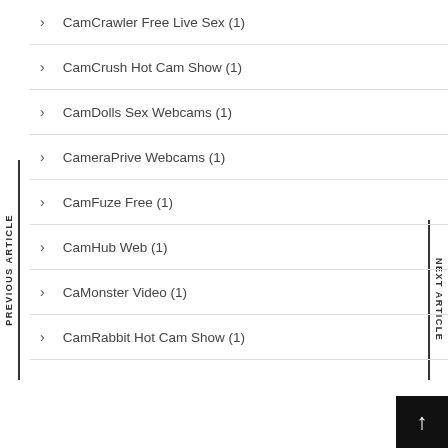> CamCrawler Free Live Sex (1)
> CamCrush Hot Cam Show (1)
> CamDolls Sex Webcams (1)
> CameraPrive Webcams (1)
> CamFuze Free (1)
> CamHub Web (1)
> CaMonster Video (1)
> CamRabbit Hot Cam Show (1)